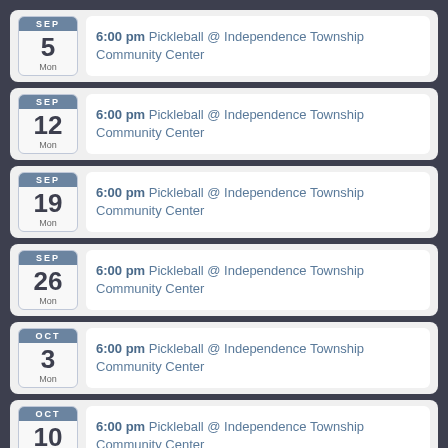SEP 5 Mon — 6:00 pm Pickleball @ Independence Township Community Center
SEP 12 Mon — 6:00 pm Pickleball @ Independence Township Community Center
SEP 19 Mon — 6:00 pm Pickleball @ Independence Township Community Center
SEP 26 Mon — 6:00 pm Pickleball @ Independence Township Community Center
OCT 3 Mon — 6:00 pm Pickleball @ Independence Township Community Center
OCT 10 Mon — 6:00 pm Pickleball @ Independence Township Community Center